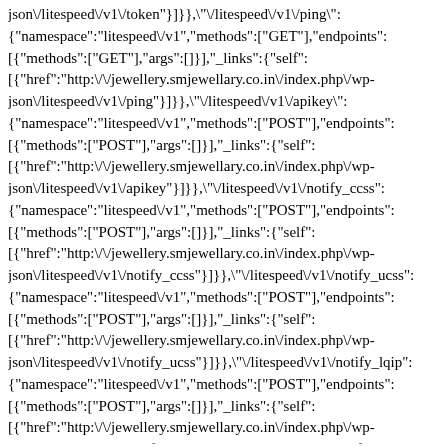json\/litespeed\/v1\/token"}]}},"\/litespeed\/v1\/ping": {"namespace":"litespeed\/v1","methods":["GET"],"endpoints": [{"methods":["GET"],"args":[]},"_links":{"self": [{"href":"http:\/\/jewellery.smjewellary.co.in\/index.php\/wp-json\/litespeed\/v1\/ping"}]}},"\/litespeed\/v1\/apikey": {"namespace":"litespeed\/v1","methods":["POST"],"endpoints": [{"methods":["POST"],"args":[]},"_links":{"self": [{"href":"http:\/\/jewellery.smjewellary.co.in\/index.php\/wp-json\/litespeed\/v1\/apikey"}]}},"\/litespeed\/v1\/notify_ccss": {"namespace":"litespeed\/v1","methods":["POST"],"endpoints": [{"methods":["POST"],"args":[]},"_links":{"self": [{"href":"http:\/\/jewellery.smjewellary.co.in\/index.php\/wp-json\/litespeed\/v1\/notify_ccss"}]}},"\/litespeed\/v1\/notify_ucss": {"namespace":"litespeed\/v1","methods":["POST"],"endpoints": [{"methods":["POST"],"args":[]},"_links":{"self": [{"href":"http:\/\/jewellery.smjewellary.co.in\/index.php\/wp-json\/litespeed\/v1\/notify_ucss"}]}},"\/litespeed\/v1\/notify_lqip": {"namespace":"litespeed\/v1","methods":["POST"],"endpoints": [{"methods":["POST"],"args":[]},"_links":{"self": [{"href":"http:\/\/jewellery.smjewellary.co.in\/index.php\/wp-json\/litespeed\/v1\/notify_lqip"}]}},"\/litespeed\/v1\/notify_vpi": {"namespace":"litespeed\/v1","methods":["POST"],"endpoints": [{"methods":["POST"],"args":[]},"_links":{"self": [{"href":"http:\/\/jewellery.smjewellary.co.in\/index.php\/wp-json\/litespeed\/v1\/notify_vpi"}]}},"\/litespeed\/v1\/notify_img":